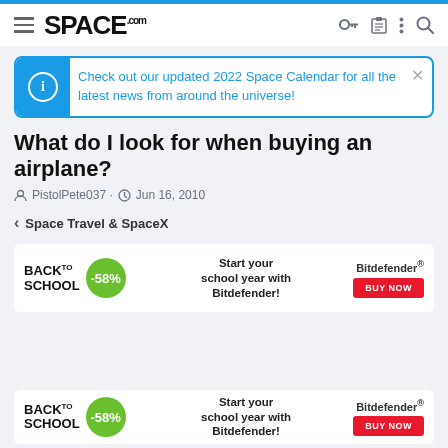SPACE.com
Check out our updated 2022 Space Calendar for all the latest news from around the universe!
What do I look for when buying an airplane?
PistolPete037 · Jun 16, 2010
< Space Travel & SpaceX
[Figure (screenshot): Back to School advertisement banner for Bitdefender with -58% discount and BUY NOW button]
[Figure (screenshot): Back to School advertisement banner for Bitdefender (partial, bottom of page) with -58% discount and BUY NOW button]